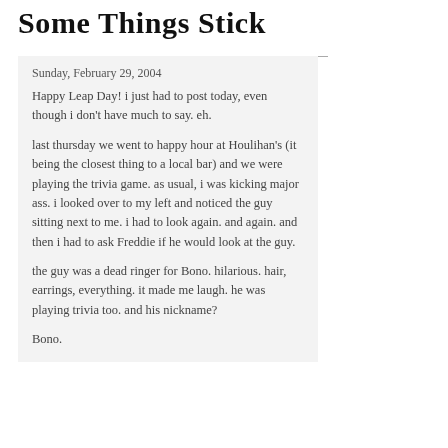Some Things Stick
Sunday, February 29, 2004
Happy Leap Day! i just had to post today, even though i don't have much to say. eh.
last thursday we went to happy hour at Houlihan's (it being the closest thing to a local bar) and we were playing the trivia game. as usual, i was kicking major ass. i looked over to my left and noticed the guy sitting next to me. i had to look again. and again. and then i had to ask Freddie if he would look at the guy.
the guy was a dead ringer for Bono. hilarious. hair, earrings, everything. it made me laugh. he was playing trivia too. and his nickname?
Bono.